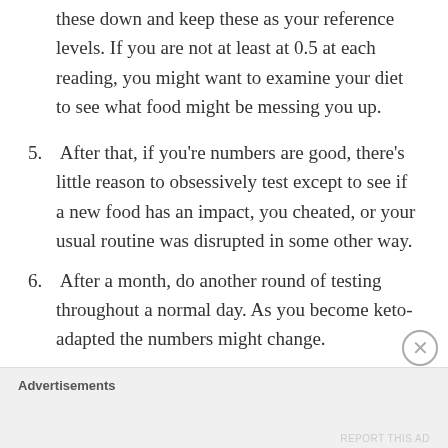these down and keep these as your reference levels. If you are not at least at 0.5 at each reading, you might want to examine your diet to see what food might be messing you up.
5. After that, if you're numbers are good, there's little reason to obsessively test except to see if a new food has an impact, you cheated, or your usual routine was disrupted in some other way.
6. After a month, do another round of testing throughout a normal day. As you become keto-adapted the numbers might change.
Advertisements